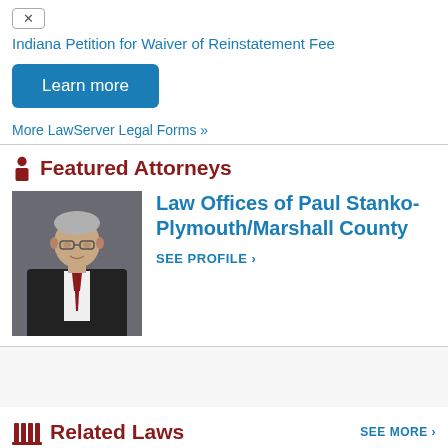✕
Indiana Petition for Waiver of Reinstatement Fee
Learn more
More LawServer Legal Forms »
Featured Attorneys
[Figure (photo): Professional headshot of an older man with grey hair and glasses, wearing a dark suit with a red tie, against a grey background.]
Law Offices of Paul Stanko-Plymouth/Marshall County
SEE PROFILE ›
Related Laws
SEE MORE ›
U.S.